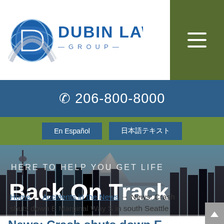[Figure (logo): Dubin Law Group logo with shield/globe icon]
☎ 206-800-8000
En Español | 日本語テキスト
[Figure (photo): Seattle skyline with Mount Rainier in background, hero image with text: HERE TO HELP YOU GET LIFE Back On Track]
Home → Accidents in the News → News: Crash shuts down E Marginal Way S in south Seattle